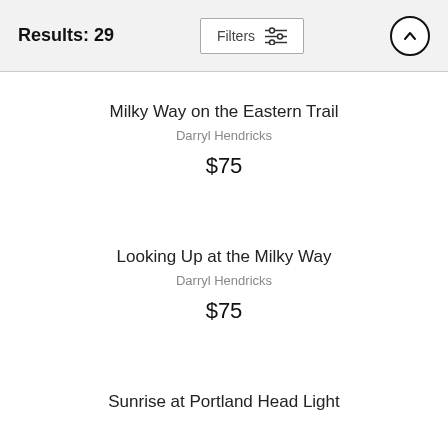Results: 29
Milky Way on the Eastern Trail
Darryl Hendricks
$75
Looking Up at the Milky Way
Darryl Hendricks
$75
Sunrise at Portland Head Light